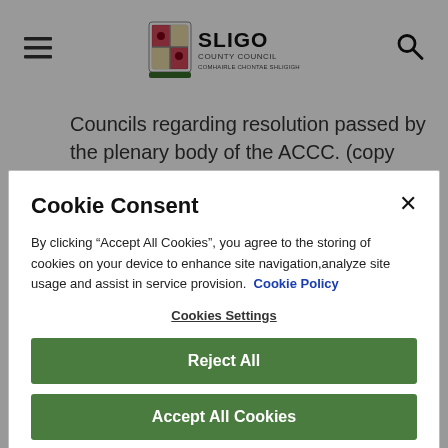Sligo County Council
Councils regarding resolution passed by the plenary body of the ACCC. (copy attached)
xv. Report regarding Zebra Mussels Item 14 of February meeting. (copy
Cookie Consent
By clicking “Accept All Cookies”, you agree to the storing of cookies on your device to enhance site navigation,analyze site usage and assist in service provision.  Cookie Policy
Cookies Settings
Reject All
Accept All Cookies